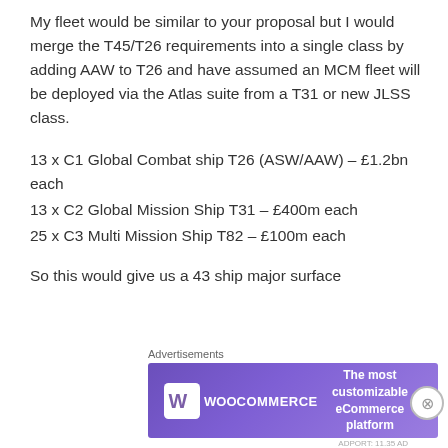My fleet would be similar to your proposal but I would merge the T45/T26 requirements into a single class by adding AAW to T26 and have assumed an MCM fleet will be deployed via the Atlas suite from a T31 or new JLSS class.
13 x C1 Global Combat ship T26 (ASW/AAW) – £1.2bn each
13 x C2 Global Mission Ship T31 – £400m each
25 x C3 Multi Mission Ship T82 – £100m each
So this would give us a 43 ship major surface
Advertisements
[Figure (other): WooCommerce advertisement banner: 'The most customizable eCommerce platform']